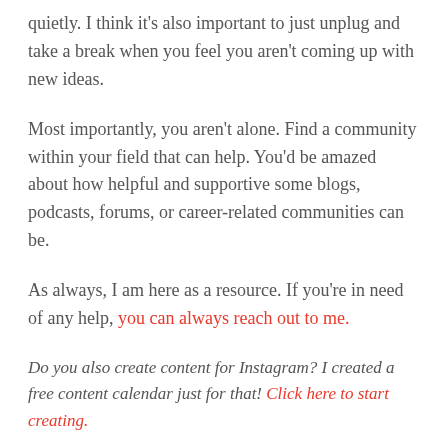quietly. I think it's also important to just unplug and take a break when you feel you aren't coming up with new ideas.
Most importantly, you aren't alone. Find a community within your field that can help. You'd be amazed about how helpful and supportive some blogs, podcasts, forums, or career-related communities can be.
As always, I am here as a resource. If you're in need of any help, you can always reach out to me.
Do you also create content for Instagram? I created a free content calendar just for that! Click here to start creating.
Share this:
Tweet  Share 0  More